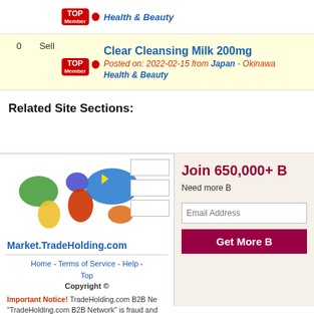0  Sell  Health & Beauty  [TOP Member badge] [Japan flag]
0  Sell  Clear Cleansing Milk 200mg  Posted on: 2022-02-15 from Japan - Okinawa  Health & Beauty  [TOP Member badge] [Japan flag]
Related Site Sections:
[Figure (map): World map showing continents in different colors (green, blue, red, yellow, orange) representing TradeHolding.com global network]
Market.TradeHolding.com
Home - Terms of Service - Help - Top  Copyright ©
Important Notice! TradeHolding.com B2B Network "TradeHolding.com B2B Network" is fraud and sho...
All Trade Leads / Offers / Products / Company b... Network shall not be held liable for any such conte... or prop...
Join 650,000+ b
Need more B
Email Address
Get More B